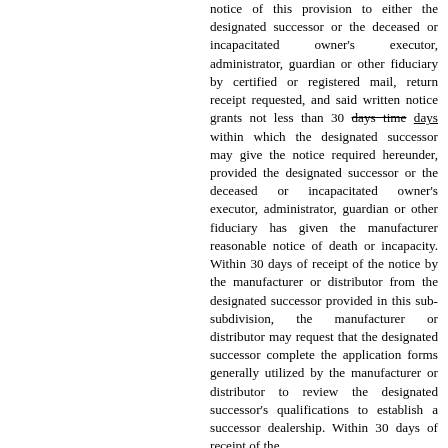notice of this provision to either the designated successor or the deceased or incapacitated owner's executor, administrator, guardian or other fiduciary by certified or registered mail, return receipt requested, and said written notice grants not less than 30 days time days within which the designated successor may give the notice required hereunder, provided the designated successor or the deceased or incapacitated owner's executor, administrator, guardian or other fiduciary has given the manufacturer reasonable notice of death or incapacity. Within 30 days of receipt of the notice by the manufacturer or distributor from the designated successor provided in this sub-subdivision, the manufacturer or distributor may request that the designated successor complete the application forms generally utilized by the manufacturer or distributor to review the designated successor's qualifications to establish a successor dealership. Within 30 days of receipt of the